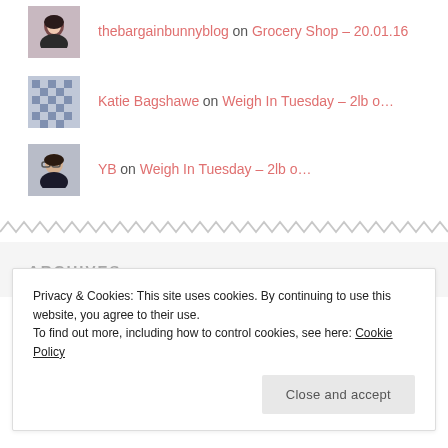thebargainbunnyblog on Grocery Shop – 20.01.16
Katie Bagshawe on Weigh In Tuesday – 2lb o...
YB on Weigh In Tuesday – 2lb o...
ARCHIVES
Privacy & Cookies: This site uses cookies. By continuing to use this website, you agree to their use.
To find out more, including how to control cookies, see here: Cookie Policy
Close and accept